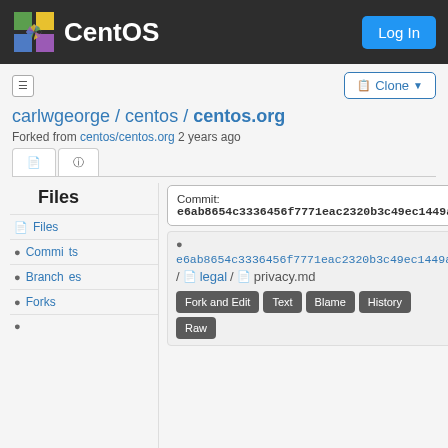CentOS  Log In
carlwgeorge / centos / centos.org
Forked from centos/centos.org 2 years ago
Files
Commit: e6ab8654c3336456f7771eac2320b3c49ec1449a
Files
Commits
Branches
Forks
e6ab8654c3336456f7771eac2320b3c49ec1449a / legal / privacy.md
Fork and Edit  Text  Blame  History  Raw